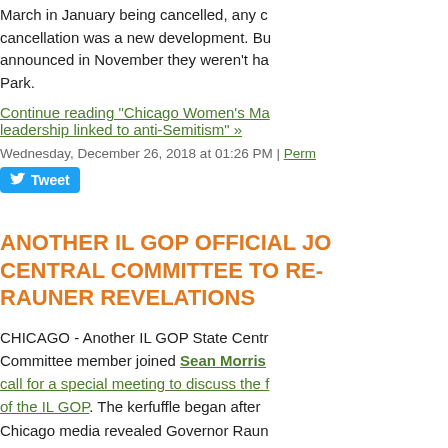March in January being cancelled, any cancellation was a new development. But announced in November they weren't ha Park.
Continue reading "Chicago Women's Ma leadership linked to anti-Semitism" »
Wednesday, December 26, 2018 at 01:26 PM | Perm
Tweet
ANOTHER IL GOP OFFICIAL JO CENTRAL COMMITTEE TO RE- RAUNER REVELATIONS
CHICAGO - Another IL GOP State Centr Committee member joined Sean Morris call for a special meeting to discuss the f of the IL GOP. The kerfuffle began after Chicago media revealed Governor Raun tried to find a substitute to run for govern 2018 rather than run for re-election hims
The volatile revelation did not simmer do over the Christmas weekend. State Cent